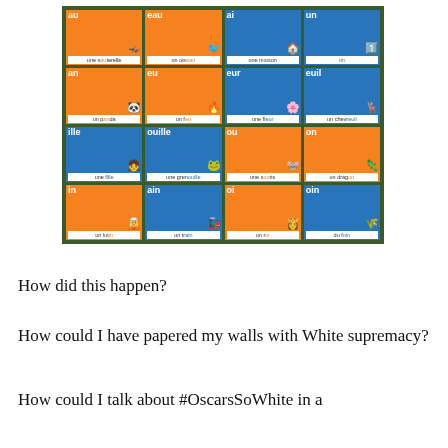[Figure (photo): A French phonics card chart arranged in a 4x4 grid. Each card shows a French phoneme/sound (au, eau, ai, un, an, eu, eur, euil, ille, ouille, ou, on, in, ain, oi, oin) with an illustration and example word (une sauterelle, un oiseau, une maison, un, un panda, un feu, une fleur, un chevreuil, une fille, une grenouille, une souris, un dragon, un lutin, un train, un roi, du foin). Cards alternate between orange and blue backgrounds.]
How did this happen?
How could I have papered my walls with White supremacy?
How could I talk about #OscarsSoWhite in a